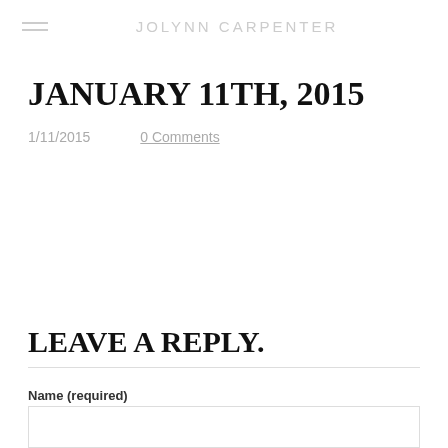JOLYNN CARPENTER
JANUARY 11TH, 2015
1/11/2015    0 Comments
LEAVE A REPLY.
Name (required)